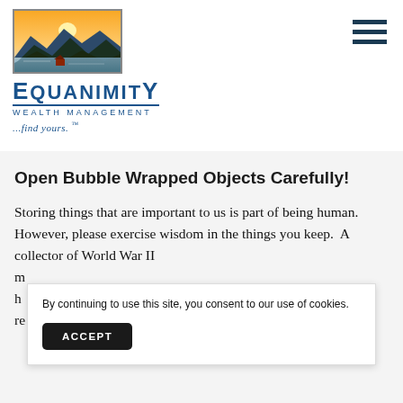[Figure (logo): Equanimity Wealth Management logo with landscape illustration (mountains, sunset, water) above stylized text 'EQUANIMITY WEALTH MANAGEMENT ...find yours. TM']
Open Bubble Wrapped Objects Carefully!
Storing things that are important to us is part of being human. However, please exercise wisdom in the things you keep.  A collector of World War II m... h... re...
By continuing to use this site, you consent to our use of cookies.